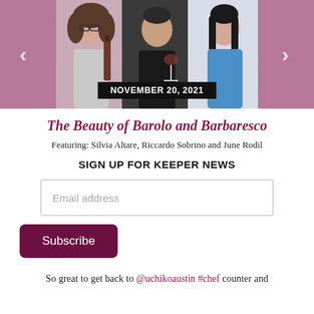[Figure (photo): Carousel banner showing three people: a woman with curly hair holding a wine bottle, a man in a black t-shirt holding a wine glass, and an Asian woman in a blue top. Pink/mauve background with left and right navigation arrows and a black date badge reading NOVEMBER 20, 2021.]
The Beauty of Barolo and Barbaresco
Featuring: Silvia Altare, Riccardo Sobrino and June Rodil
SIGN UP FOR KEEPER NEWS
Email address
Subscribe
So great to get back to @uchikoaustin #chef counter and